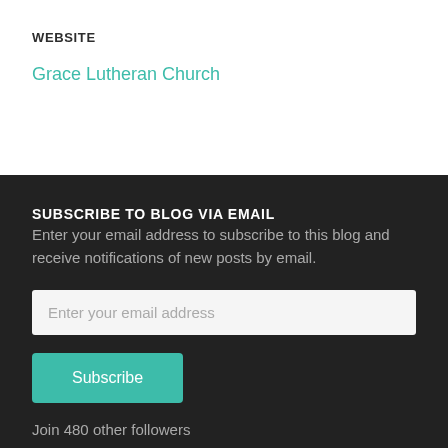WEBSITE
Grace Lutheran Church
SUBSCRIBE TO BLOG VIA EMAIL
Enter your email address to subscribe to this blog and receive notifications of new posts by email.
Enter your email address
Subscribe
Join 480 other followers